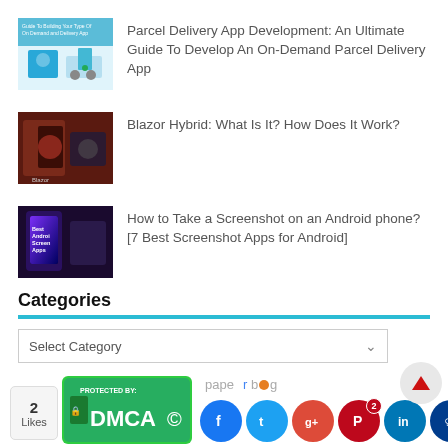[Figure (screenshot): Thumbnail for Parcel Delivery App article — illustration with parcels and delivery vehicle]
Parcel Delivery App Development: An Ultimate Guide To Develop An On-Demand Parcel Delivery App
[Figure (screenshot): Thumbnail for Blazor Hybrid article — dark background with phone/tech imagery]
Blazor Hybrid: What Is It? How Does It Work?
[Figure (screenshot): Thumbnail for Screenshot Apps article — Android phone with purple/dark background]
How to Take a Screenshot on an Android phone? [7 Best Screenshot Apps for Android]
Categories
Select Category
[Figure (logo): DMCA Protected By badge — green with lock icon]
[Figure (logo): Paperblog logo]
[Figure (infographic): Social sharing icons: Facebook, Twitter, Google+, Pinterest (with 2), LinkedIn, and a blue crown icon. Scroll-up arrow button. Likes badge showing 2 Likes.]